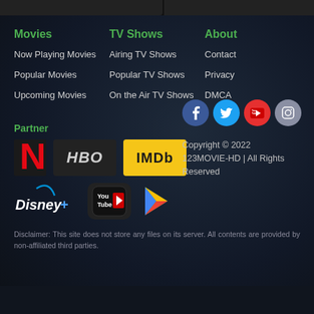Movies
Now Playing Movies
Popular Movies
Upcoming Movies
TV Shows
Airing TV Shows
Popular TV Shows
On the Air TV Shows
About
Contact
Privacy
DMCA
Partner
[Figure (logo): Partner logos: Netflix, HBO, IMDb, Disney+, YouTube, Google Play]
[Figure (infographic): Social media icons: Facebook, Twitter, YouTube, Instagram]
Copyright © 2022 123MOVIE-HD | All Rights Reserved
Disclaimer: This site does not store any files on its server. All contents are provided by non-affiliated third parties.